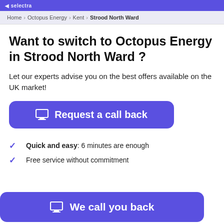Selectra
Home > Octopus Energy > Kent > Strood North Ward
Want to switch to Octopus Energy in Strood North Ward ?
Let our experts advise you on the best offers available on the UK market!
[Figure (other): Button: Request a call back with laptop icon]
Quick and easy: 6 minutes are enough
Free service without commitment
[Figure (other): Button: We call you back with laptop icon]